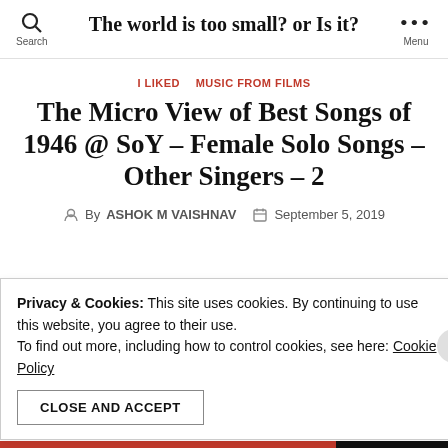The world is too small? or Is it?
I LIKED   MUSIC FROM FILMS
The Micro View of Best Songs of 1946 @ SoY – Female Solo Songs – Other Singers – 2
By ASHOK M VAISHNAV   September 5, 2019
Privacy & Cookies: This site uses cookies. By continuing to use this website, you agree to their use.
To find out more, including how to control cookies, see here: Cookie Policy
CLOSE AND ACCEPT